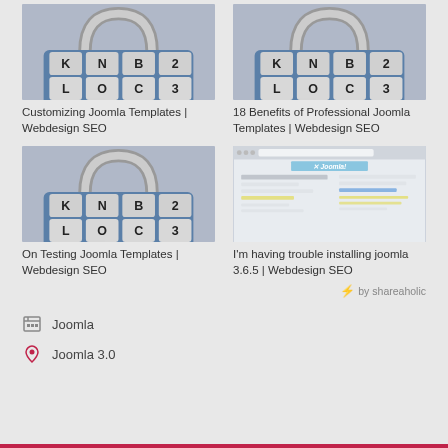[Figure (photo): Master combination padlock, blue body with letter/number dials showing K N B 2 / L O C 3]
Customizing Joomla Templates | Webdesign SEO
[Figure (photo): Master combination padlock, blue body with letter/number dials showing K N B 2 / L O C 3]
18 Benefits of Professional Joomla Templates | Webdesign SEO
[Figure (photo): Master combination padlock, blue body with letter/number dials showing K N B 2 / L O C 3]
On Testing Joomla Templates | Webdesign SEO
[Figure (screenshot): Screenshot of Joomla admin panel configuration page]
I'm having trouble installing joomla 3.6.5 | Webdesign SEO
⚡ by shareaholic
Joomla
Joomla 3.0